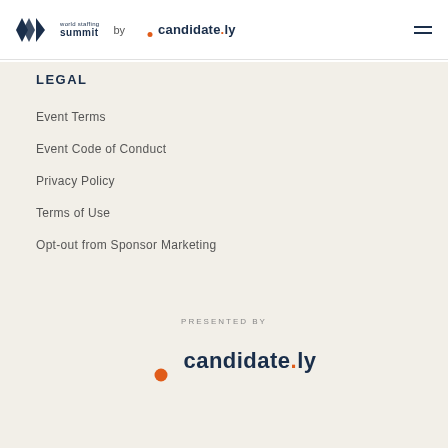world staffing summit by candidate.ly
LEGAL
Event Terms
Event Code of Conduct
Privacy Policy
Terms of Use
Opt-out from Sponsor Marketing
PRESENTED BY
[Figure (logo): candidate.ly logo — dark crescent C shape with orange dot, followed by text 'candidate.ly' in dark navy]